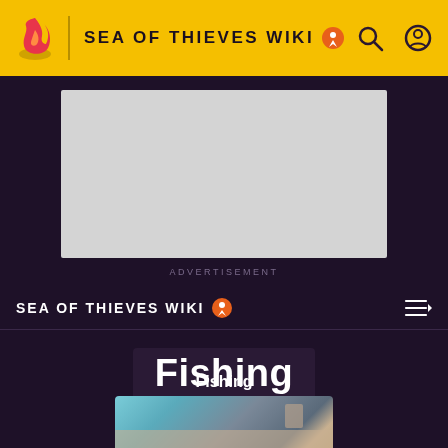SEA OF THIEVES WIKI
[Figure (screenshot): Advertisement placeholder box - grey rectangle]
ADVERTISEMENT
SEA OF THIEVES WIKI
Fishing
EDIT
Fishing
[Figure (photo): Fishing scene image showing water and possibly a boat or fishing scene]